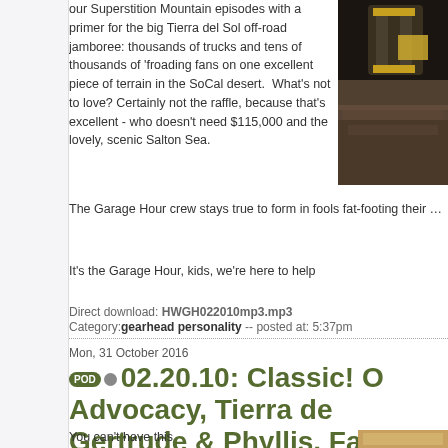[Figure (photo): Off-road vehicle on rocky terrain, partial view showing roll cage and yellow body against dark rocky background]
our Superstition Mountain episodes with a primer for the big Tierra del Sol off-road jamboree: thousands of trucks and tens of thousands of 'froading fans on one excellent piece of terrain in the SoCal desert. What's not to love? Certainly not the raffle, because that's excellent - who doesn't need $115,000 and the lovely, scenic Salton Sea.
The Garage Hour crew stays true to form in fools fat-footing their cars into the bushes and you plan to film your next drifting, burnouting
It's the Garage Hour, kids, we're here to help
Direct download: HWGH022010mp3.mp3
Category: gearhead personality -- posted at: 5:37pm
Mon, 31 October 2016
02.20.10: Classic! O Advocacy, Tierra de Gertrude & Phyllis, Fat-F Mongers, Temple of Door Non-Expertise
You can't have this